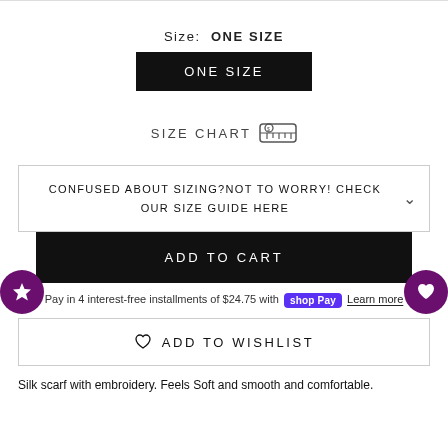Size: ONE SIZE
ONE SIZE
SIZE CHART
CONFUSED ABOUT SIZING?NOT TO WORRY! CHECK OUR SIZE GUIDE HERE
ADD TO CART
Pay in 4 interest-free installments of $24.75 with Shop Pay Learn more
ADD TO WISHLIST
Silk scarf with embroidery. Feels Soft and smooth and comfortable.